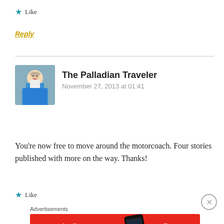★ Like
Reply
The Palladian Traveler
November 27, 2013 at 01:41
You're now free to move around the motorcoach. Four stories published with more on the way. Thanks!
★ Like
Advertisements
[Figure (screenshot): Red advertisement banner for Pocket Casts app: 'An app by listeners, for listeners.' with a phone graphic and Pocket Casts logo]